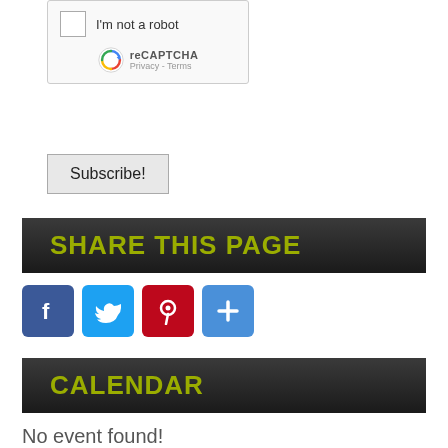[Figure (screenshot): reCAPTCHA widget with checkbox labeled 'I'm not a robot', reCAPTCHA logo, Privacy and Terms links]
Subscribe!
SHARE THIS PAGE
[Figure (infographic): Social sharing icons: Facebook (blue), Twitter (light blue), Pinterest (red), More/Add (blue)]
CALENDAR
No event found!